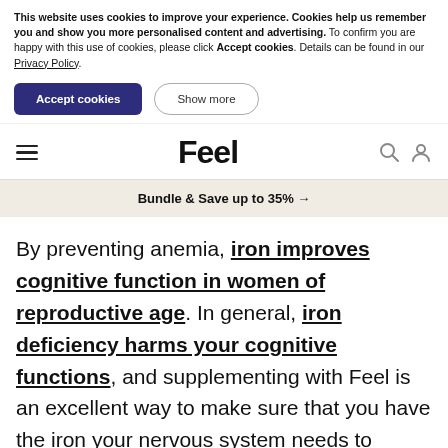This website uses cookies to improve your experience. Cookies help us remember you and show you more personalised content and advertising. To confirm you are happy with this use of cookies, please click Accept cookies. Details can be found in our Privacy Policy.
Accept cookies | Show more
Feel (logo navigation bar)
Bundle & Save up to 35% →
By preventing anemia, iron improves cognitive function in women of reproductive age. In general, iron deficiency harms your cognitive functions, and supplementing with Feel is an excellent way to make sure that you have the iron your nervous system needs to operate with